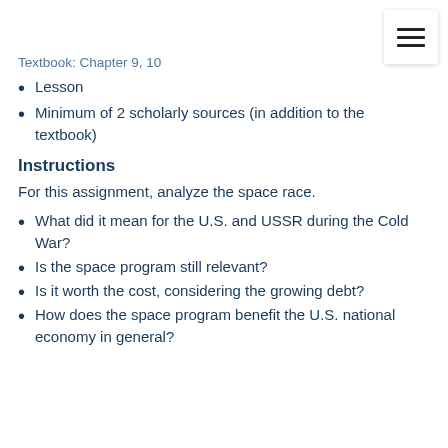Textbook: Chapter 9, 10
Lesson
Minimum of 2 scholarly sources (in addition to the textbook)
Instructions
For this assignment, analyze the space race.
What did it mean for the U.S. and USSR during the Cold War?
Is the space program still relevant?
Is it worth the cost, considering the growing debt?
How does the space program benefit the U.S. national economy in general?